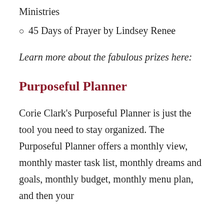Living Our Ana Day -- Think It. Fulfil Ministries
○ 45 Days of Prayer by Lindsey Renee
Learn more about the fabulous prizes here:
Purposeful Planner
Corie Clark's Purposeful Planner is just the tool you need to stay organized. The Purposeful Planner offers a monthly view, monthly master task list, monthly dreams and goals, monthly budget, monthly menu plan, and then your